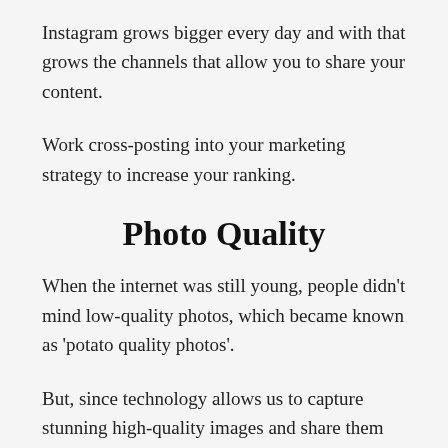Instagram grows bigger every day and with that grows the channels that allow you to share your content.
Work cross-posting into your marketing strategy to increase your ranking.
Photo Quality
When the internet was still young, people didn't mind low-quality photos, which became known as 'potato quality photos'.
But, since technology allows us to capture stunning high-quality images and share them on the internet,